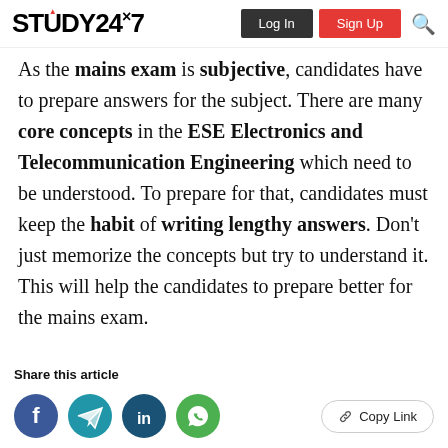STUDY24×7 | Log In | Sign Up
As the mains exam is subjective, candidates have to prepare answers for the subject. There are many core concepts in the ESE Electronics and Telecommunication Engineering which need to be understood. To prepare for that, candidates must keep the habit of writing lengthy answers. Don't just memorize the concepts but try to understand it. This will help the candidates to prepare better for the mains exam.
Share this article
[Figure (other): Social share icons: Facebook, Telegram, LinkedIn, WhatsApp, and a Copy Link button]